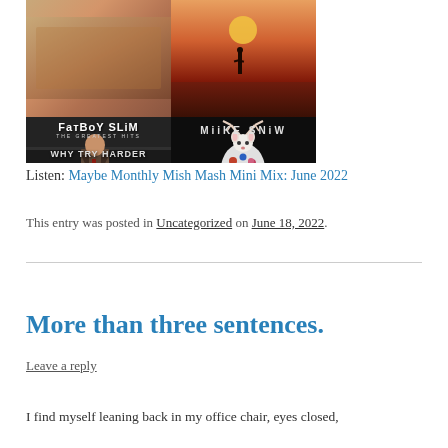[Figure (photo): Collage of four album covers in a 2x2 grid: top-left appears to be a brownish/orange abstract album, top-right is a reddish sunset with silhouette, bottom-left is Fatboy Slim 'The Greatest Hits - Why Try Harder' showing a man in a suit, bottom-right is Miike Snow album with a colorful dot-pattern deer/jackalope with antlers on dark background]
Listen: Maybe Monthly Mish Mash Mini Mix: June 2022
This entry was posted in Uncategorized on June 18, 2022.
More than three sentences.
Leave a reply
I find myself leaning back in my office chair, eyes closed,